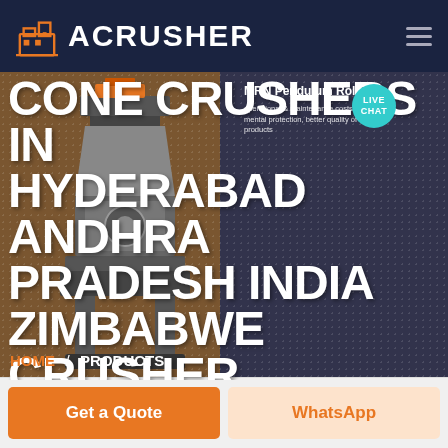ACRUSHER
CONE CRUSHERS IN HYDERABAD ANDHRA PRADESH INDIA ZIMBABWE CRUSHER
MRN Pendulum Roller
operational & maintenance costs, excellent mental protection, better quality of finished products
LIVE CHAT
HOME / PRODUCTS
Get a Quote
WhatsApp